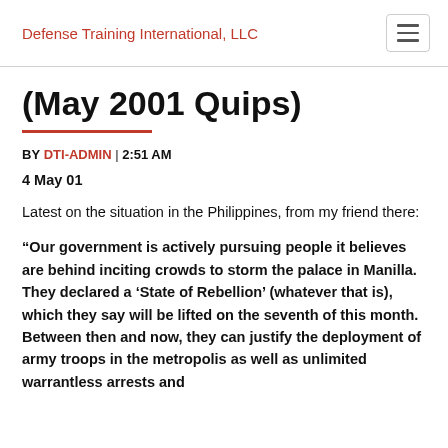Defense Training International, LLC
(May 2001 Quips)
BY DTI-ADMIN | 2:51 AM
4 May 01
Latest on the situation in the Philippines, from my friend there:
“Our government is actively pursuing people it believes are behind inciting crowds to storm the palace in Manilla. They declared a ‘State of Rebellion’ (whatever that is), which they say will be lifted on the seventh of this month. Between then and now, they can justify the deployment of army troops in the metropolis as well as unlimited warrantless arrests and